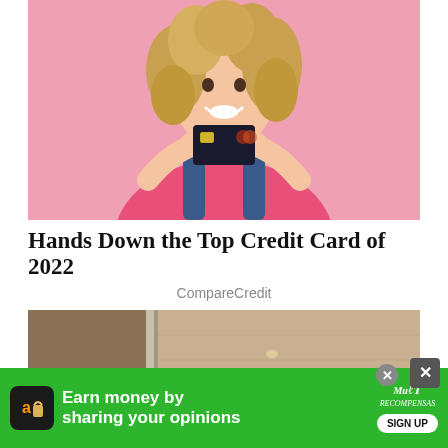[Figure (photo): A smiling young woman with curly blonde hair wearing a pink top and denim overalls, holding up a dark credit card against a pink background.]
Hands Down the Top Credit Card of 2022
CompareCredit
[Figure (photo): A close-up photo showing a door lock or knob with a metallic/golden object, with brownish door or wall in background.]
Earn money by sharing your opinions